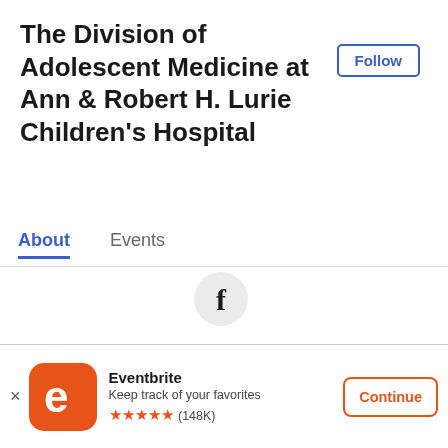The Division of Adolescent Medicine at Ann & Robert H. Lurie Children's Hospital
Follow
About
Events
[Figure (logo): Facebook 'f' logo icon in a light grey circle]
Contact the organizer
Events
Eventbrite
Keep track of your favorites
★★★★★ (148K)
Continue